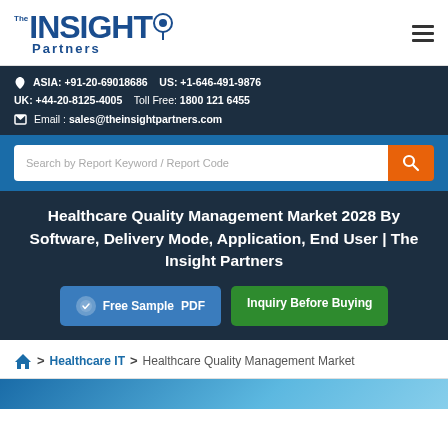[Figure (logo): The Insight Partners logo with circular icon]
ASIA: +91-20-69018686    US: +1-646-491-9876
UK: +44-20-8125-4005    Toll Free: 1800 121 6455
Email : sales@theinsightpartners.com
Search by Report Keyword / Report Code
Healthcare Quality Management Market 2028 By Software, Delivery Mode, Application, End User | The Insight Partners
Free Sample PDF
Inquiry Before Buying
Home > Healthcare IT > Healthcare Quality Management Market